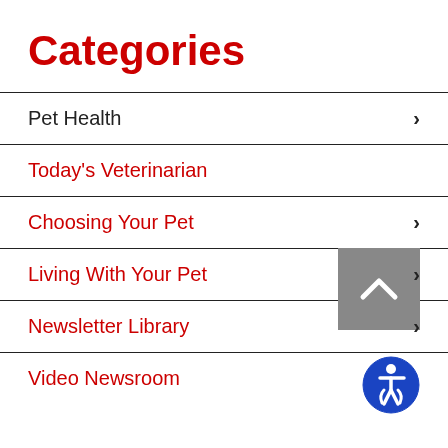Categories
Pet Health
Today's Veterinarian
Choosing Your Pet
Living With Your Pet
Newsletter Library
Video Newsroom